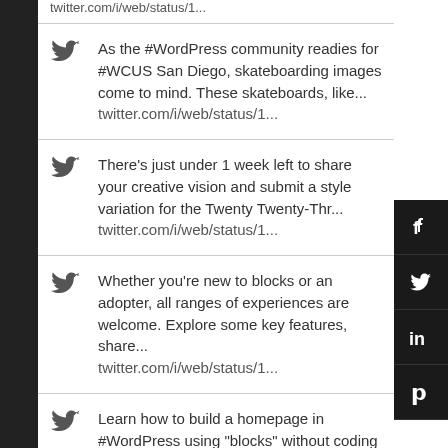twitter.com/i/web/status/1...
As the #WordPress community readies for #WCUS San Diego, skateboarding images come to mind. These skateboards, like... twitter.com/i/web/status/1...
There’s just under 1 week left to share your creative vision and submit a style variation for the Twenty Twenty-Thr... twitter.com/i/web/status/1...
Whether you’re new to blocks or an adopter, all ranges of experiences are welcome. Explore some key features, share... twitter.com/i/web/status/1...
Learn how to build a homepage in #WordPress using "blocks" without coding or any plugins in this 10-minute video tu... twitter.com/i/web/status/1...